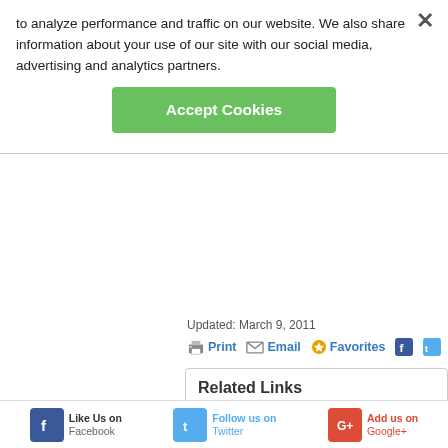to analyze performance and traffic on our website. We also share information about your use of our site with our social media, advertising and analytics partners.
[Figure (other): Green Accept Cookies button]
Updated: March 9, 2011
Print  Email  Favorites  [Facebook icon]  [Twitter icon]
Related Links
Anaphylaxis: Preventing and Treating Life-Threatening Allergic Reactions
5 High-Risk Spots for Food Allergies
Gluten Intolerance: Why It's a Growing Problem
Risks and Benefits of Raw Dairy
6 Hidden Allergy and Asthma Triggers
Avoiding Classroom Allergies and Asthma
Like Us on [Facebook]  Follow us on [Twitter]  Add us on [Google+]